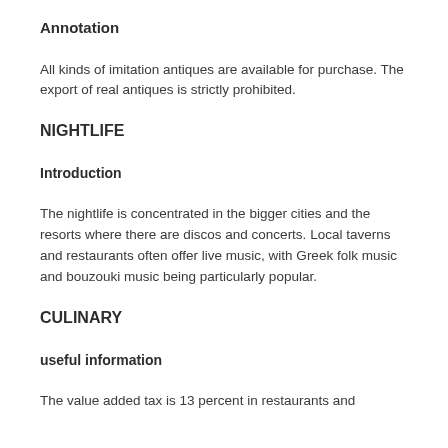Annotation
All kinds of imitation antiques are available for purchase. The export of real antiques is strictly prohibited.
NIGHTLIFE
Introduction
The nightlife is concentrated in the bigger cities and the resorts where there are discos and concerts. Local taverns and restaurants often offer live music, with Greek folk music and bouzouki music being particularly popular.
CULINARY
useful information
The value added tax is 13 percent in restaurants and